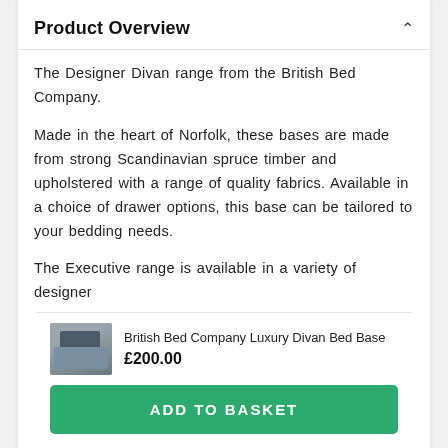Product Overview
The Designer Divan range from the British Bed Company.
Made in the heart of Norfolk, these bases are made from strong Scandinavian spruce timber and upholstered with a range of quality fabrics. Available in a choice of drawer options, this base can be tailored to your bedding needs.
The Executive range is available in a variety of designer
[Figure (photo): Thumbnail image of a divan bed base]
British Bed Company Luxury Divan Bed Base
£200.00
ADD TO BASKET